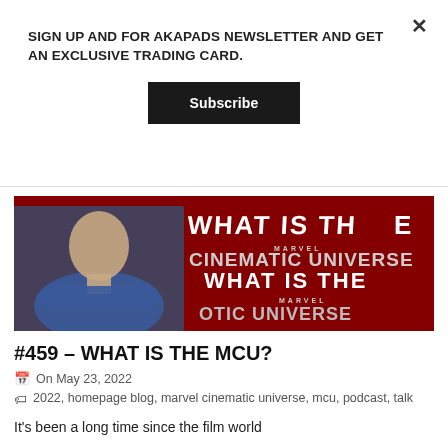SIGN UP AND FOR AKAPADS NEWSLETTER AND GET AN EXCLUSIVE TRADING CARD.
Subscribe
[Figure (photo): A man in a blue shirt standing in front of a red Marvel Cinematic Universe themed background with text 'WHAT IS THE CINEMATIC UNIVERSE' repeated.]
#459 – WHAT IS THE MCU?
On May 23, 2022
2022, homepage blog, marvel cinematic universe, mcu, podcast, talk
It's been a long time since the film world